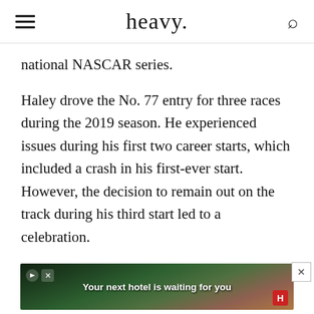heavy.
national NASCAR series.
Haley drove the No. 77 entry for three races during the 2019 season. He experienced issues during his first two career starts, which included a crash in his first-ever start. However, the decision to remain out on the track during his third start led to a celebration.
The 2019 Coke Zero Sugar 400, which took place a day later than expected due to rain, also unexpectedly [text continues] completed the first two stages and tried to finish off